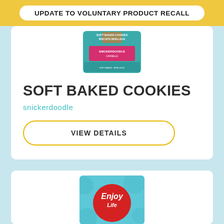UPDATE TO VOLUNTARY PRODUCT RECALL
[Figure (photo): Soft Baked Cookies Snickerdoodle product package - teal and pink packaging]
SOFT BAKED COOKIES
snickerdoodle
VIEW DETAILS
[Figure (photo): Enjoy Life branded product - partial view with red circular logo]